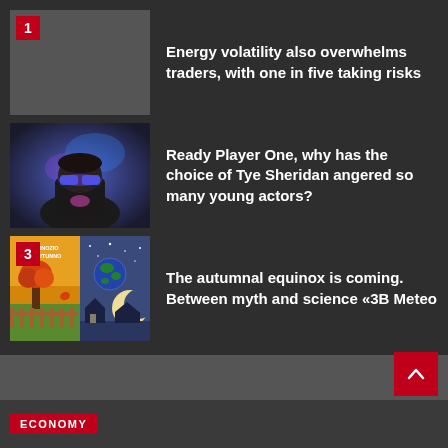1 Energy volatility also overwhelms traders, with one in five taking risks
2 Ready Player One, why has the choice of Tye Sheridan angered so many young actors?
3 The autumnal equinox is coming. Between myth and science «3B Meteo
ECONOMY